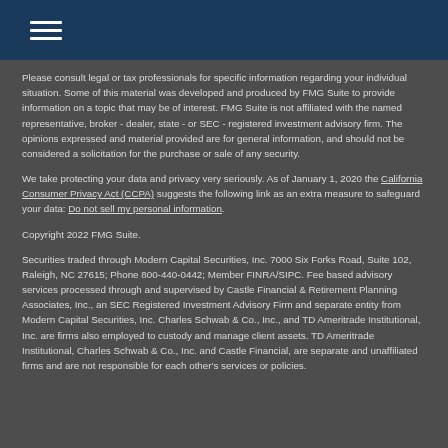Please consult legal or tax professionals for specific information regarding your individual situation. Some of this material was developed and produced by FMG Suite to provide information on a topic that may be of interest. FMG Suite is not affiliated with the named representative, broker - dealer, state - or SEC - registered investment advisory firm. The opinions expressed and material provided are for general information, and should not be considered a solicitation for the purchase or sale of any security.
We take protecting your data and privacy very seriously. As of January 1, 2020 the California Consumer Privacy Act (CCPA) suggests the following link as an extra measure to safeguard your data: Do not sell my personal information.
Copyright 2022 FMG Suite.
Securities traded through Modern Capital Securities, Inc. 7000 Six Forks Road, Suite 102, Raleigh, NC 27615; Phone 800-440-0442; Member FINRA/SIPC. Fee based advisory services processed through and supervised by Castle Financial & Retirement Planning Associates, Inc., an SEC Registered Investment Advisory Firm and separate entity from Modern Capital Securities, Inc. Charles Schwab & Co., Inc., and TD Ameritrade Institutional, Inc. are firms also employed to custody and manage client assets. TD Ameritrade Institutional, Charles Schwab & Co., Inc. and Castle Financial, are separate and unaffiliated firms and are not responsible for each other's services or policies.